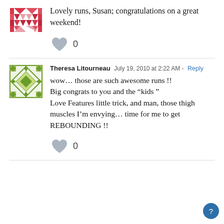Lovely runs, Susan; congratulations on a great weekend!
0
Theresa Litourneau  July 19, 2010 at 2:22 AM - Reply
wow… those are such awesome runs !! Big congrats to you and the "kids" Love Features little trick, and man, those thigh muscles I'm envying… time for me to get REBOUNDING !!
0